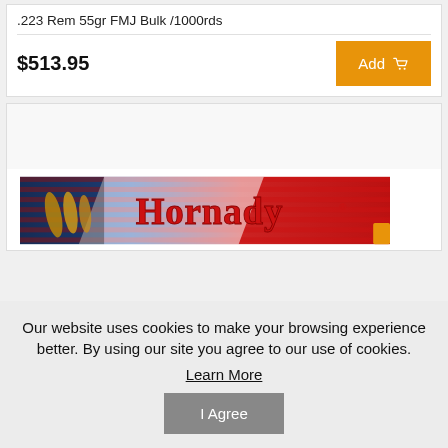.223 Rem 55gr FMJ Bulk /1000rds
$513.95
[Figure (screenshot): Hornady ammunition product banner showing bullets against an American flag background with Hornady red logo text]
Our website uses cookies to make your browsing experience better. By using our site you agree to our use of cookies.
Learn More
I Agree